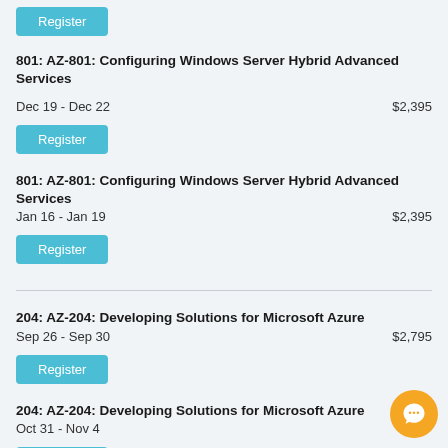Register (button, top)
801: AZ-801: Configuring Windows Server Hybrid Advanced Services
Dec 19 - Dec 22   $2,395
Register
801: AZ-801: Configuring Windows Server Hybrid Advanced Services
Jan 16 - Jan 19   $2,395
Register
204: AZ-204: Developing Solutions for Microsoft Azure
Sep 26 - Sep 30   $2,795
Register
204: AZ-204: Developing Solutions for Microsoft Azure
Oct 31 - Nov 4
Register